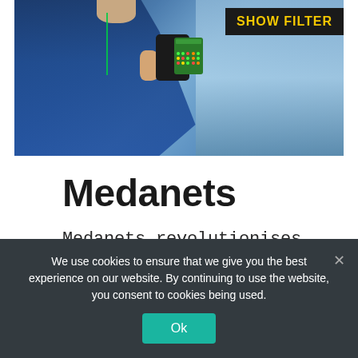[Figure (photo): A nurse in blue scrubs holding a smartphone displaying a mobile health app with colored dot indicators, with a patient in a hospital bed in the background. A yellow 'SHOW FILTER' badge is in the top right corner of the image.]
Medanets
Medanets revolutionises healthcare with superior mobile solutions. Developed
We use cookies to ensure that we give you the best experience on our website. By continuing to use the website, you consent to cookies being used.
Ok